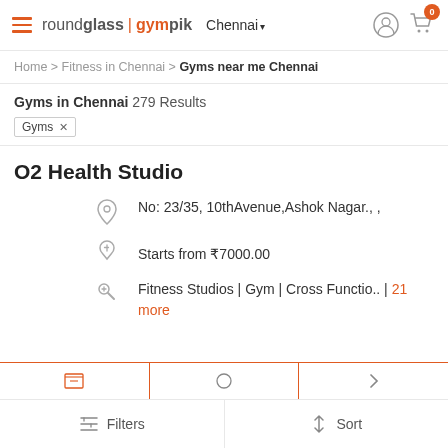roundglass | gympik  Chennai
Home > Fitness in Chennai > Gyms near me Chennai
Gyms in Chennai 279 Results
Gyms ×
O2 Health Studio
No: 23/35, 10thAvenue,Ashok Nagar., ,
Starts from ₹7000.00
Fitness Studios | Gym | Cross Functio.. | 21 more
Filters   Sort